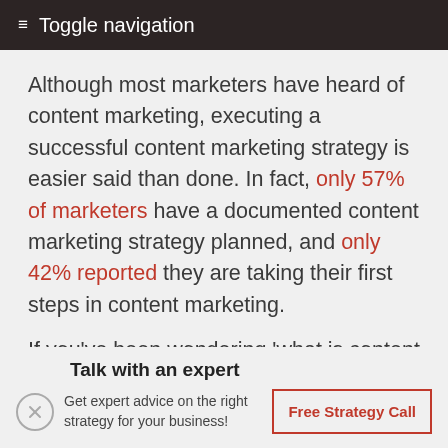≡ Toggle navigation
Although most marketers have heard of content marketing, executing a successful content marketing strategy is easier said than done. In fact, only 57% of marketers have a documented content marketing strategy planned, and only 42% reported they are taking their first steps in content marketing.
If you've been wondering 'what is content
Talk with an expert
Get expert advice on the right strategy for your business!
Free Strategy Call